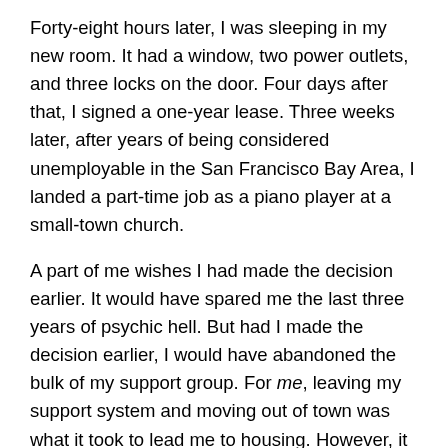Forty-eight hours later, I was sleeping in my new room. It had a window, two power outlets, and three locks on the door. Four days after that, I signed a one-year lease. Three weeks later, after years of being considered unemployable in the San Francisco Bay Area, I landed a part-time job as a piano player at a small-town church.
A part of me wishes I had made the decision earlier. It would have spared me the last three years of psychic hell. But had I made the decision earlier, I would have abandoned the bulk of my support group. For me, leaving my support system and moving out of town was what it took to lead me to housing. However, it is a common misconception that the homeless crisis would be solved if homeless people just picked themselves up and moved out of town. This is not always the case, nor is it always readily possible.